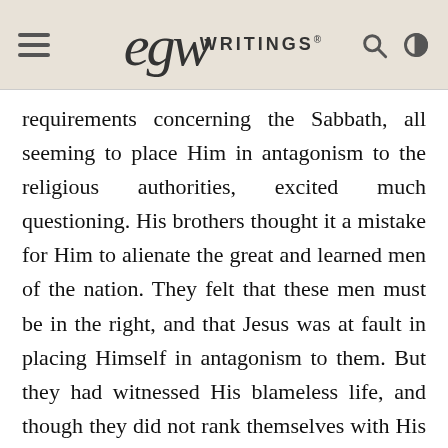EGW WRITINGS®
requirements concerning the Sabbath, all seeming to place Him in antagonism to the religious authorities, excited much questioning. His brothers thought it a mistake for Him to alienate the great and learned men of the nation. They felt that these men must be in the right, and that Jesus was at fault in placing Himself in antagonism to them. But they had witnessed His blameless life, and though they did not rank themselves with His disciples, they had been deeply impressed by His works. His popularity in Galilee was gratifying to their ambition; they still hoped that He would give an evidence of His power which would lead the Pharisees to see that He was what He claimed to be. What if He were the Messiah, the Prince of Israel? The angels had told this